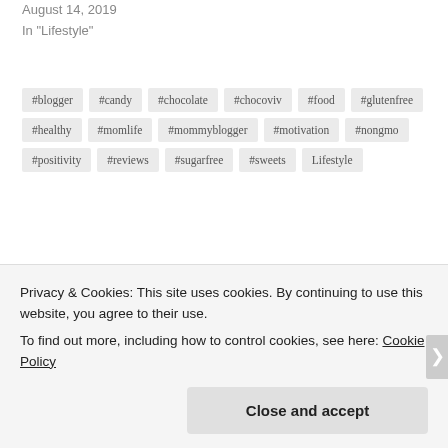August 14, 2019
In "Lifestyle"
#blogger
#candy
#chocolate
#chocoviv
#food
#glutenfree
#healthy
#momlife
#mommyblogger
#motivation
#nongmo
#positivity
#reviews
#sugarfree
#sweets
Lifestyle
Published by Chocoviv
Privacy & Cookies: This site uses cookies. By continuing to use this website, you agree to their use.
To find out more, including how to control cookies, see here: Cookie Policy
Close and accept